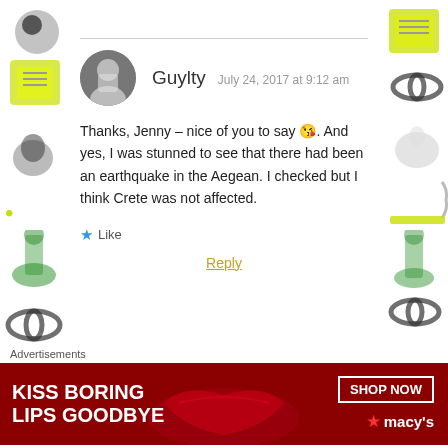[Figure (screenshot): Blog comment thread showing Guylty and Monica comments with decorative side borders, like button, reply link, and advertisement banner at bottom for Macy's lip products]
Guylty  July 24, 2017 at 9:12 am
Thanks, Jenny – nice of you to say 😘. And yes, I was stunned to see that there had been an earthquake in the Aegean. I checked but I think Crete was not affected.
★ Like
Reply
Monica  July 23, 2017 at 9:43 pm
Advertisements
KISS BORING LIPS GOODBYE   SHOP NOW  ★ macy's